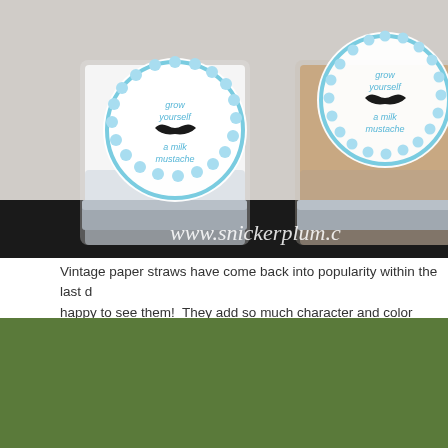[Figure (photo): Two glass cups filled with milk (one white, one chocolate milk) with decorative round labels reading 'grow yourself a milk mustache', with a mustache graphic. Watermark: www.snickerplum.c]
Vintage paper straws have come back into popularity within the last d happy to see them!  They add so much character and color with the s
[Figure (photo): A framed picture with blue horizontal stripes and an orange bird on a branch, displayed on grass. Partially visible red/orange floral arrangement on the right side.]